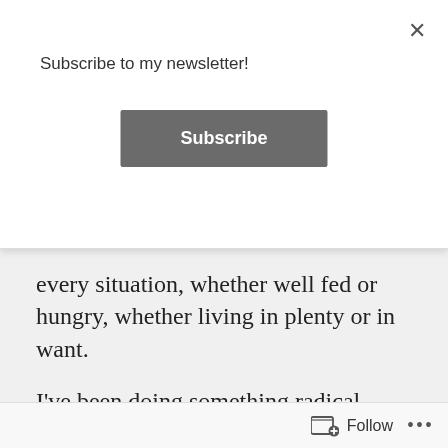Subscribe to my newsletter!
Subscribe
every situation, whether well fed or hungry, whether living in plenty or in want.
I've been doing something radical recently: I've been reading my Bible. I know, I know, it's a novel idea, isn't it? I don't think it's any secret that my first semester in grad school was hard, and I doubt it would surprise any of you further to know that I wanted to quit. I was completely dissatisfied with my life, and I wanted something more, something better, something
Follow ...